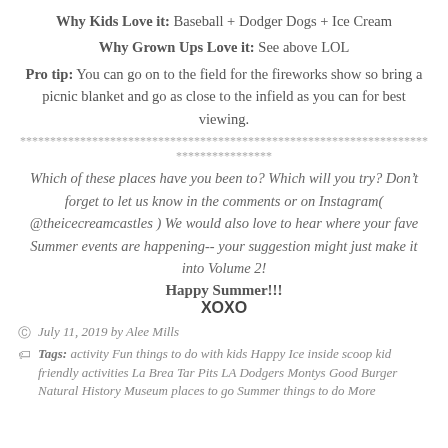Why Kids Love it: Baseball + Dodger Dogs + Ice Cream
Why Grown Ups Love it: See above LOL
Pro tip: You can go on to the field for the fireworks show so bring a picnic blanket and go as close to the infield as you can for best viewing.
************************************************************************************
Which of these places have you been to? Which will you try? Don't forget to let us know in the comments or on Instagram( @theicecreamcastles ) We would also love to hear where your fave Summer events are happening-- your suggestion might just make it into Volume 2!
Happy Summer!!!
XOXO
July 11, 2019 by Alee Mills
Tags: activity Fun things to do with kids Happy Ice inside scoop kid friendly activities La Brea Tar Pits LA Dodgers Montys Good Burger Natural History Museum places to go Summer things to do More